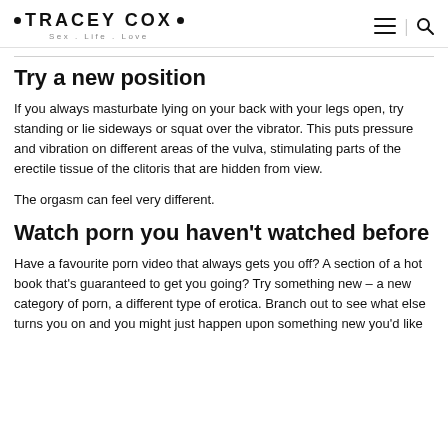• TRACEY COX • Sex . Life . Love
Try a new position
If you always masturbate lying on your back with your legs open, try standing or lie sideways or squat over the vibrator. This puts pressure and vibration on different areas of the vulva, stimulating parts of the erectile tissue of the clitoris that are hidden from view.
The orgasm can feel very different.
Watch porn you haven't watched before
Have a favourite porn video that always gets you off? A section of a hot book that's guaranteed to get you going? Try something new – a new category of porn, a different type of erotica. Branch out to see what else turns you on and you might just happen upon something new you'd like